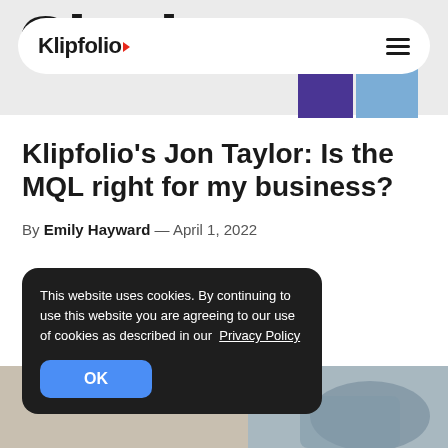Klipfolio
Klipfolio's Jon Taylor: Is the MQL right for my business?
By Emily Hayward — April 1, 2022
This website uses cookies. By continuing to use this website you are agreeing to our use of cookies as described in our Privacy Policy
[Figure (screenshot): Bottom photo strip showing partial view of a person]